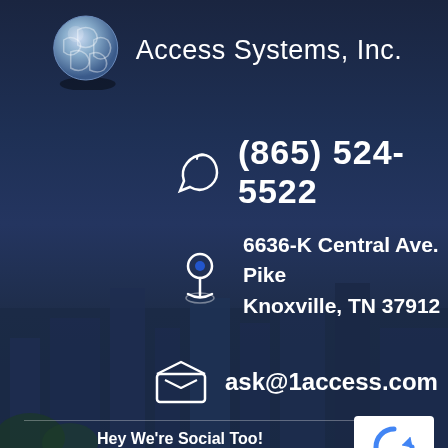[Figure (logo): Globe/puzzle ball logo with Access Systems, Inc. text]
(865) 524-5522
6636-K Central Ave. Pike
Knoxville, TN 37912
ask@1access.com
Hey We’re Social Too! Please Connect With Us.
[Figure (logo): Google reCAPTCHA badge with Privacy - Terms text]